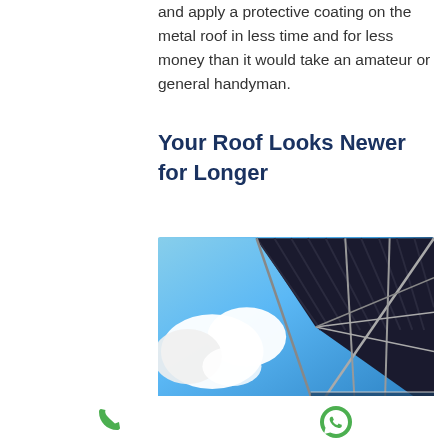and apply a protective coating on the metal roof in less time and for less money than it would take an amateur or general handyman.
Your Roof Looks Newer for Longer
[Figure (photo): Upward angle photograph of a modern metal roof structure with dark corrugated panels and steel framework against a bright blue sky with white clouds]
Phone icon and WhatsApp icon